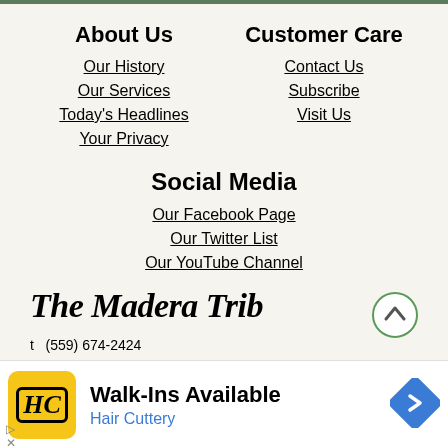About Us
Our History
Our Services
Today's Headlines
Your Privacy
Customer Care
Contact Us
Subscribe
Visit Us
Social Media
Our Facebook Page
Our Twitter List
Our YouTube Channel
The Madera Tribe
(559) 674-2424
Walk-Ins Available
Hair Cuttery